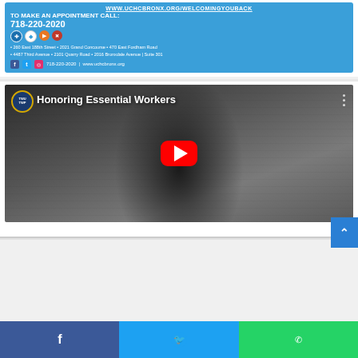[Figure (infographic): UCHC Bronx advertisement banner with URL www.uchcbronx.org/welcomingyouback, appointment phone number 718-220-2020, medical icons, addresses including 260 East 188th Street, 2021 Grand Concourse, 470 East Fordham Road, 4487 Third Avenue, 2101 Quarry Road, 2016 Bronxdale Avenue Suite 301, social media icons, and contact info 718-220-2020 www.uchcbronx.org]
[Figure (screenshot): YouTube video thumbnail showing a worker wearing a mask and giving thumbs up, grayscale image, with title 'Honoring Essential Workers', TWU logo in top left corner, red YouTube play button in center]
[Figure (infographic): Social media share bar with Facebook (blue), Twitter (light blue), and WhatsApp (green) buttons at bottom of page]